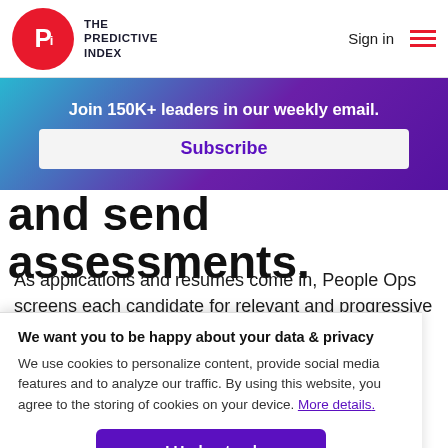THE PREDICTIVE INDEX | Sign in
Join 150K+ leaders in our weekly email.
Subscribe
and send assessments.
As applications and resumes come in, People Ops screens each candidate for relevant and progressive work
We want you to be happy about your data & privacy
We use cookies to personalize content, provide social media features and to analyze our traffic. By using this website, you agree to the storing of cookies on your device. More details.
I Understand